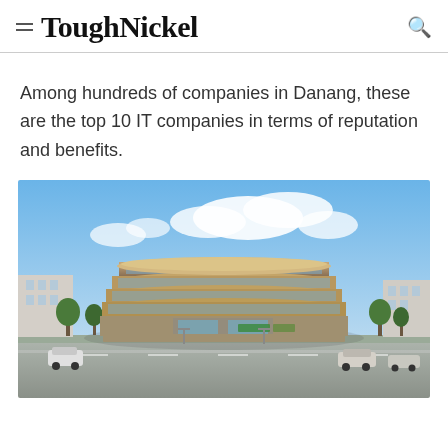ToughNickel
Among hundreds of companies in Danang, these are the top 10 IT companies in terms of reputation and benefits.
[Figure (photo): Exterior rendering of a modern circular multi-story office building with glass facades, surrounded by trees, parked cars, and a blue sky with clouds.]